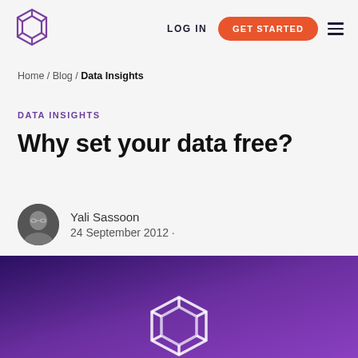LOG IN  GET STARTED
Home / Blog / Data Insights
DATA INSIGHTS
Why set your data free?
Yali Sassoon
24 September 2012 ·
[Figure (photo): Purple/violet gradient background with a white hexagonal logo outline in the center bottom, representing the Snowplow Analytics brand image for the blog post hero.]